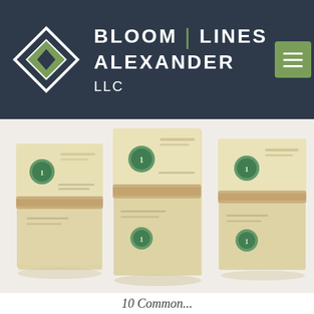Bloom | Lines Alexander LLC — navigation header with logo
[Figure (photo): Three stacks of US dollar bills bundled with rubber bands, arranged side by side on a white background, photographed from a slightly elevated angle.]
10 Common...